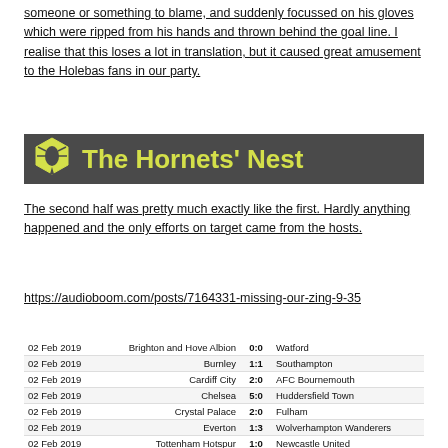someone or something to blame, and suddenly focussed on his gloves which were ripped from his hands and thrown behind the goal line.  I realise that this loses a lot in translation, but it caused great amusement to the Holebas fans in our party.
[Figure (logo): The Hornets' Nest logo - dark grey background with yellow text and hornet hexagon icon]
The second half was pretty much exactly like the first. Hardly anything happened and the only efforts on target came from the hosts.
https://audioboom.com/posts/7164331-missing-our-zing-9-35
| Date | Home | Score | Away |
| --- | --- | --- | --- |
| 02 Feb 2019 | Brighton and Hove Albion | 0:0 | Watford |
| 02 Feb 2019 | Burnley | 1:1 | Southampton |
| 02 Feb 2019 | Cardiff City | 2:0 | AFC Bournemouth |
| 02 Feb 2019 | Chelsea | 5:0 | Huddersfield Town |
| 02 Feb 2019 | Crystal Palace | 2:0 | Fulham |
| 02 Feb 2019 | Everton | 1:3 | Wolverhampton Wanderers |
| 02 Feb 2019 | Tottenham Hotspur | 1:0 | Newcastle United |
| 03 Feb 2019 | Leicester City | 0:1 | Manchester United |
| 03 Feb 2019 | Manchester City | 3:1 | Arsenal |
| 04 Feb 2019 | West Ham United | 1:1 | Liverpool |